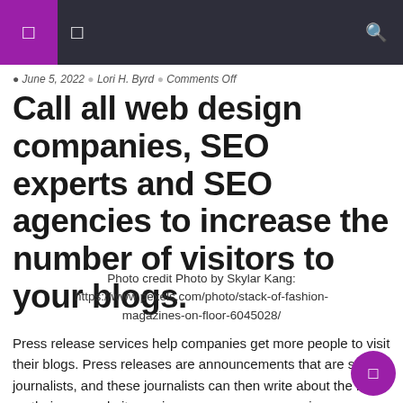Navigation bar with menu icons and search
June 5, 2022 | Lori H. Byrd | Comments Off
Call all web design companies, SEO experts and SEO agencies to increase the number of visitors to your blogs.
Photo credit Photo by Skylar Kang: https://www.pexels.com/photo/stack-of-fashion-magazines-on-floor-6045028/
Press release services help companies get more people to visit their blogs. Press releases are announcements that are sent to journalists, and these journalists can then write about the blog on their own websites or in newspapers or magazines.